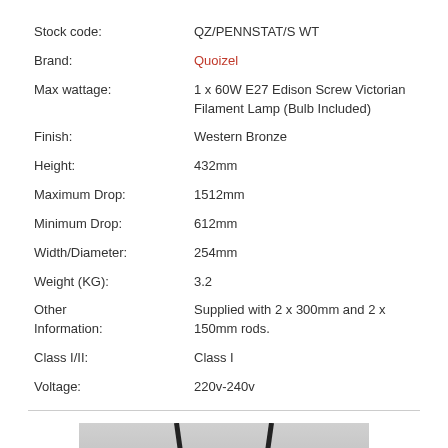| Stock code: | QZ/PENNSTAT/S WT |
| Brand: | Quoizel |
| Max wattage: | 1 x 60W E27 Edison Screw Victorian Filament Lamp (Bulb Included) |
| Finish: | Western Bronze |
| Height: | 432mm |
| Maximum Drop: | 1512mm |
| Minimum Drop: | 612mm |
| Width/Diameter: | 254mm |
| Weight (KG): | 3.2 |
| Other Information: | Supplied with 2 x 300mm and 2 x 150mm rods. |
| Class I/II: | Class I |
| Voltage: | 220v-240v |
[Figure (photo): Product photo showing bottom of a pendant lamp with a red shade/canopy and two dark rods hanging from a grey background]